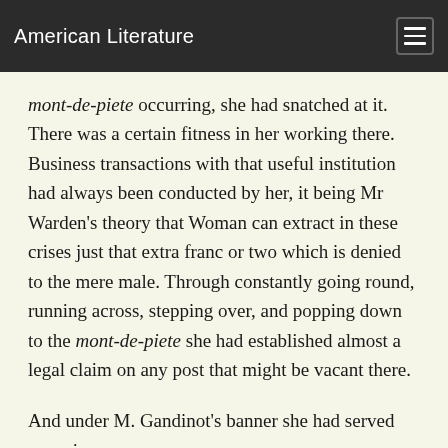American Literature
mont-de-piete occurring, she had snatched at it. There was a certain fitness in her working there. Business transactions with that useful institution had always been conducted by her, it being Mr Warden's theory that Woman can extract in these crises just that extra franc or two which is denied to the mere male. Through constantly going round, running across, stepping over, and popping down to the mont-de-piete she had established almost a legal claim on any post that might be vacant there.
And under M. Gandinot's banner she had served ever since.